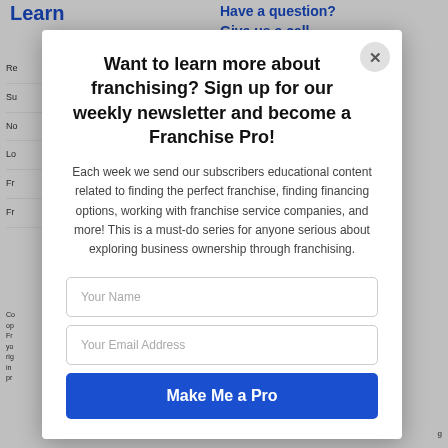Learn
Have a question? Give us a call
Want to learn more about franchising? Sign up for our weekly newsletter and become a Franchise Pro!
Each week we send our subscribers educational content related to finding the perfect franchise, finding financing options, working with franchise service companies, and more! This is a must-do series for anyone serious about exploring business ownership through franchising.
Your Name
Your Email Address
Make Me a Pro